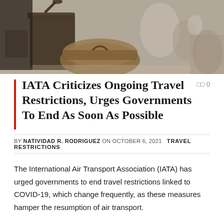[Figure (photo): Airport scene with luggage and bags in the foreground, blurred travelers in the background]
IATA Criticizes Ongoing Travel Restrictions, Urges Governments To End As Soon As Possible
BY NATIVIDAD R. RODRIGUEZ ON OCTOBER 6, 2021   TRAVEL RESTRICTIONS
The International Air Transport Association (IATA) has urged governments to end travel restrictions linked to COVID-19, which change frequently, as these measures hamper the resumption of air transport.